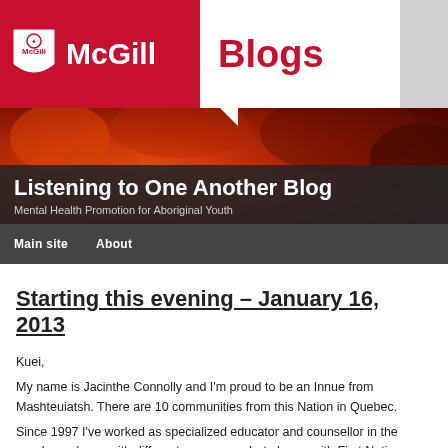McGill Blogs
[Figure (screenshot): McGill Blogs website header with red McGill University logo bar, white Blogs section, autumn foliage photo banner with 'Listening to One Another Blog – Mental Health Promotion for Aboriginal Youth' title overlay, and dark navigation bar with 'Main site' and 'About' links]
Starting this evening – January 16, 2013
Kuei,
My name is Jacinthe Connolly and I'm proud to be an Innue from Mashteuiatsh. There are 10 communities from this Nation in Quebec.
Since 1997 I've worked as specialized educator and counsellor in the psycho-s places with different age groups but always with First Nations people (through s adaptation centre, a shelter home for female victims of domestic violence., a ha